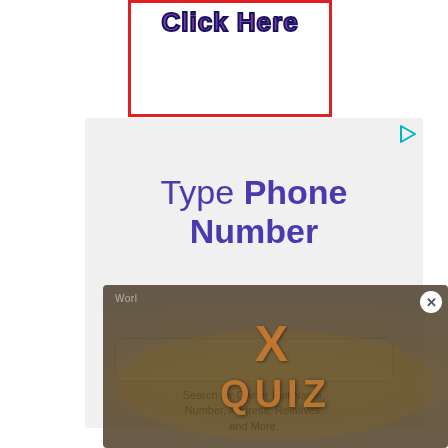[Figure (screenshot): Red-bordered advertisement box with 'Click Here' text in purple with dark outline]
[Figure (screenshot): Gray advertisement box showing 'Type Phone Number' in purple with a search field and subtext 'Search for Owner Full Name, Number, Address, Relatives, and More.']
[Figure (screenshot): Overlay popup with dark brownish background showing a World Quiz advertisement with large 'X' close button and orange stylized text reading 'WORLD QUIZ']